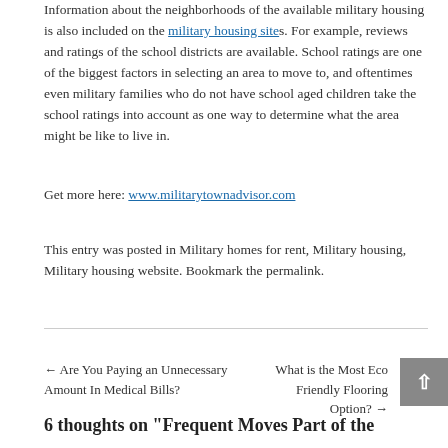Information about the neighborhoods of the available military housing is also included on the military housing sites. For example, reviews and ratings of the school districts are available. School ratings are one of the biggest factors in selecting an area to move to, and oftentimes even military families who do not have school aged children take the school ratings into account as one way to determine what the area might be like to live in.
Get more here: www.militarytownadvisor.com
This entry was posted in Military homes for rent, Military housing, Military housing website. Bookmark the permalink.
← Are You Paying an Unnecessary Amount In Medical Bills?
What is the Most Eco Friendly Flooring Option? →
6 thoughts on "Frequent Moves Part of the